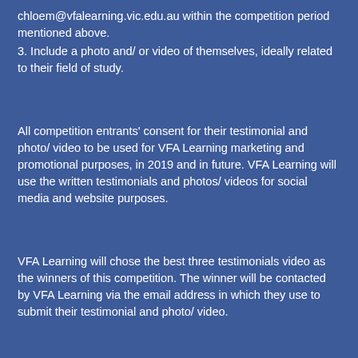chloem@vfalearning.vic.edu.au within the competition period mentioned above.
3. Include a photo and/ or video of themselves, ideally related to their field of study.
All competition entrants' consent for their testimonial and photo/ video to be used for VFA Learning marketing and promotional purposes, in 2019 and in future. VFA Learning will use the written testimonials and photos/ videos for social media and website purposes.
VFA Learning will chose the best three testimonials video as the winners of this competition. The winner will be contacted by VFA Learning via the email address in which they use to submit their testimonial and photo/ video.